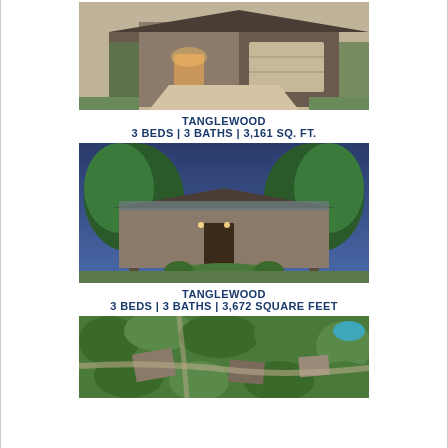[Figure (photo): Exterior photo of a brick home with attached garage, lit entrance, and concrete driveway lined with ivy-covered walls.]
TANGLEWOOD
3 BEDS | 3 BATHS | 3,161 SQ. FT.
[Figure (photo): Dusk exterior photo of a sprawling ranch-style home surrounded by large trees, with a centered front pathway and manicured landscaping.]
TANGLEWOOD
3 BEDS | 3 BATHS | 3,672 SQUARE FEET
[Figure (photo): Aerial drone photo of a lush green neighborhood showing rooftops and trees, with a pool visible in the top right corner.]